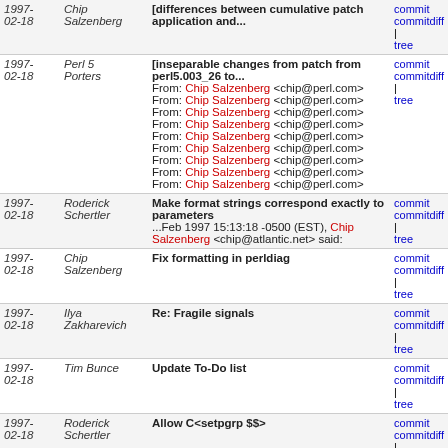| Date | Author | Message | Links |
| --- | --- | --- | --- |
| 1997-02-18 | Chip Salzenberg | [differences between cumulative patch application and... | commit | commitdiff | tree |
| 1997-02-18 | Perl 5 Porters | [inseparable changes from patch from perl5.003_26 to... From: Chip Salzenberg <chip@perl.com> (x9) | commit | commitdiff | tree |
| 1997-02-18 | Roderick Schertler | Make format strings correspond exactly to parameters ...Feb 1997 15:13:18 -0500 (EST), Chip Salzenberg <chip@atlantic.net> said: | commit | commitdiff | tree |
| 1997-02-18 | Chip Salzenberg | Fix formatting in perldiag | commit | commitdiff | tree |
| 1997-02-18 | Ilya Zakharevich | Re: Fragile signals | commit | commitdiff | tree |
| 1997-02-18 | Tim Bunce | Update To-Do list | commit | commitdiff | tree |
| 1997-02-18 | Roderick Schertler | Allow C<setpgrp $$> | commit | commitdiff | tree |
| 1997-02-18 | Ulrich Pfeifer | pod2man: missing '-' in name section shouldn't be fatal | commit | commitdiff | tree |
| 1997-02-18 | Gisle Aas | Remove redundant functions | commit | commitdiff | tree |